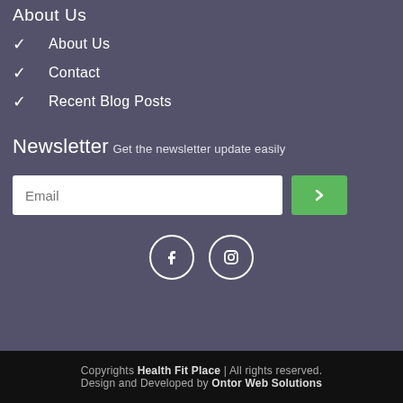About Us
About Us
Contact
Recent Blog Posts
Newsletter
Get the newsletter update easily
Copyrights Health Fit Place | All rights reserved.
Design and Developed by Ontor Web Solutions